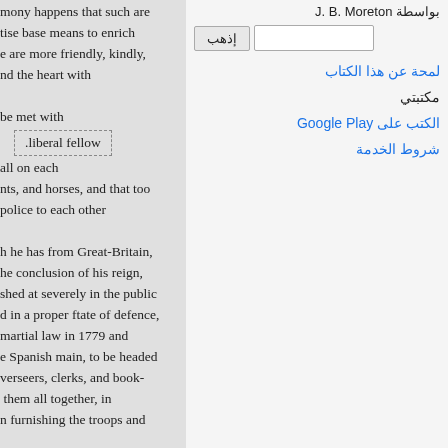mony happens that such are
tise base means to enrich
e are more friendly, kindly,
nd the heart with

be met with .liberal fellow
all on each
nts, and horses, and that too
police to each other

h he has from Great-Britain,
he conclusion of his reign,
shed at severely in the public
d in a proper ftate of defence,
martial law in 1779 and
e Spanish main, to be headed
verseers, clerks, and book-
them all together, in
n furnishing the troops and

tten sheep at St. Juan, and
d those lingering, saw their
.......
بواسطة J. B. Moreton
إذهب
لمحة عن هذا الكتاب
مكتبتي
الكتب على Google Play
شروط الخدمة